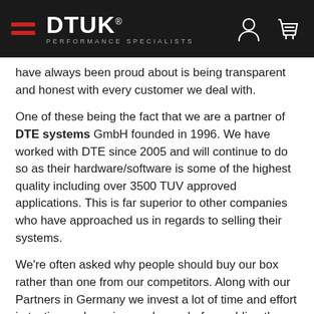DTUK PERFORMANCE SPECIALISTS
have always been proud about is being transparent and honest with every customer we deal with.
One of these being the fact that we are a partner of DTE systems GmbH founded in 1996. We have worked with DTE since 2005 and will continue to do so as their hardware/software is some of the highest quality including over 3500 TUV approved applications. This is far superior to other companies who have approached us in regards to selling their systems.
We're often asked why people should buy our box rather than one from our competitors. Along with our Partners in Germany we invest a lot of time and effort in testing and proving our boxes before adding then to our website.
You may find a lot of these tuning boxes sold online are very much the same product. You can often tell as they use the